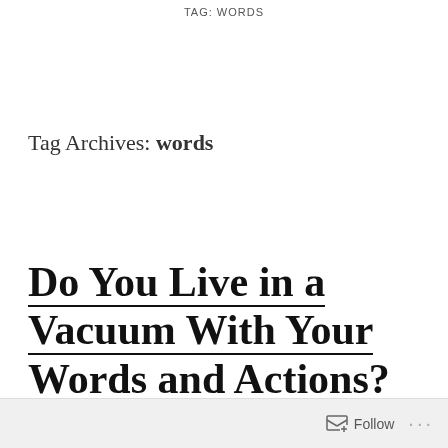TAG: WORDS
Tag Archives: words
Do You Live in a Vacuum With Your Words and Actions?
Follow